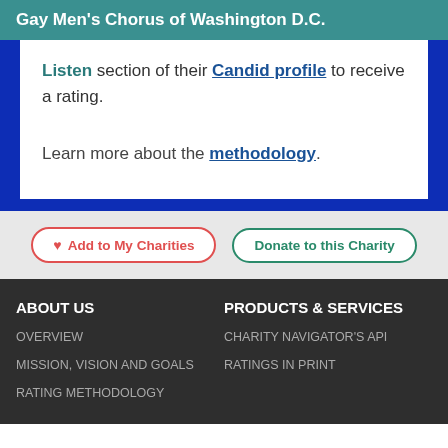Gay Men's Chorus of Washington D.C.
Listen section of their Candid profile to receive a rating.
Learn more about the methodology.
♥ Add to My Charities
Donate to this Charity
ABOUT US
OVERVIEW
MISSION, VISION AND GOALS
RATING METHODOLOGY
PRODUCTS & SERVICES
CHARITY NAVIGATOR'S API
RATINGS IN PRINT